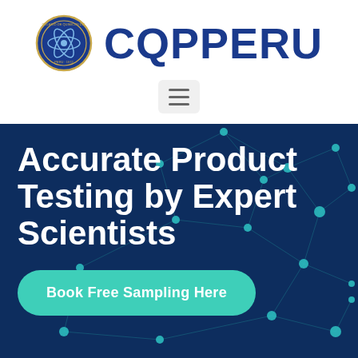[Figure (logo): CQPPERU circular emblem logo with atomic/chemical symbol and text 'Colegio de Quimicos del Peru 1972']
CQPPERU
[Figure (other): Hamburger menu button icon with three horizontal lines]
[Figure (illustration): Dark navy blue hero background with teal network/molecular connection nodes and lines pattern]
Accurate Product Testing by Expert Scientists
Book Free Sampling Here